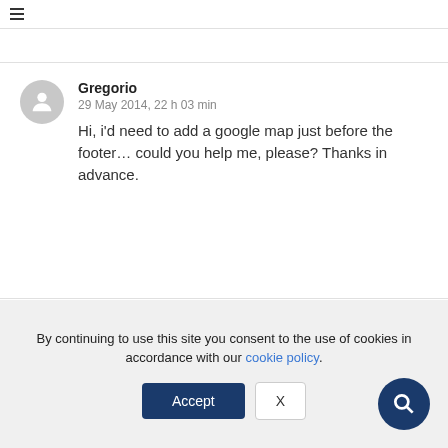Gregorio
29 May 2014, 22 h 03 min
Hi, i'd need to add a google map just before the footer… could you help me, please? Thanks in advance.
Renee Alberti
By continuing to use this site you consent to the use of cookies in accordance with our cookie policy.